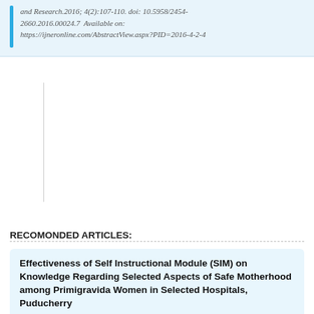and Research.2016; 4(2):107-110. doi: 10.5958/2454-2660.2016.00024.7  Available on: https://ijneronline.com/AbstractView.aspx?PID=2016-4-2-4
RECOMONDED ARTICLES:
Effectiveness of Self Instructional Module (SIM) on Knowledge Regarding Selected Aspects of Safe Motherhood among Primigravida Women in Selected Hospitals, Puducherry